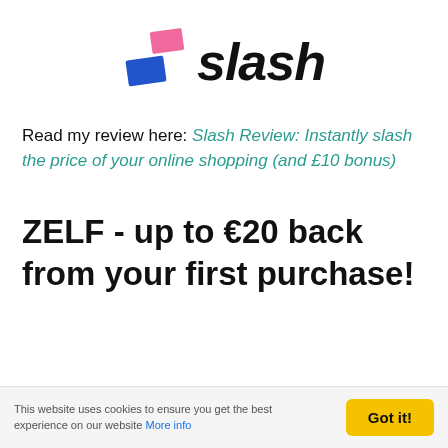[Figure (logo): Slash logo with two colored rectangles (pink and blue) and italic bold text 'slash']
Read my review here: Slash Review: Instantly slash the price of your online shopping (and £10 bonus)
ZELF - up to €20 back from your first purchase!
This website uses cookies to ensure you get the best experience on our website More info